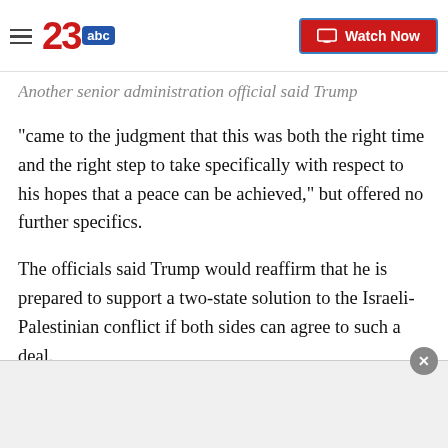23 abc | Watch Now
Another senior administration official said Trump "came to the judgment that this was both the right time and the right step to take specifically with respect to his hopes that a peace can be achieved," but offered no further specifics.
The officials said Trump would reaffirm that he is prepared to support a two-state solution to the Israeli-Palestinian conflict if both sides can agree to such a deal.
Despite the announcement, a senior administration